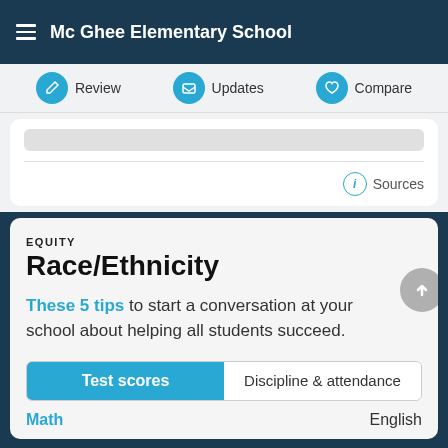Mc Ghee Elementary School
Review  Updates  Compare
Sources
EQUITY
Race/Ethnicity
These 5 tips to start a conversation at your school about helping all students succeed.
Test scores  Discipline & attendance
Math  English